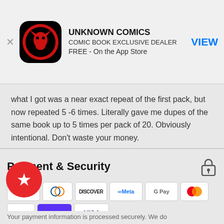[Figure (logo): Unknown Comics app advertisement banner with circular red/black dragon logo, app name, subtitle, and VIEW button]
what I got was a near exact repeat of the first pack, but now repeated 5 -6 times. Literally gave me dupes of the same book up to 5 times per pack of 20. Obviously intentional. Don't waste your money.
Sean on Aug 21, 2021
Report as Inappropriate
Payment & Security
[Figure (infographic): Payment method icons: American Express, Diners Club, Discover, Meta Pay, Google Pay, Mastercard, PayPal, Shop Pay, Visa]
Your payment information is processed securely. We do